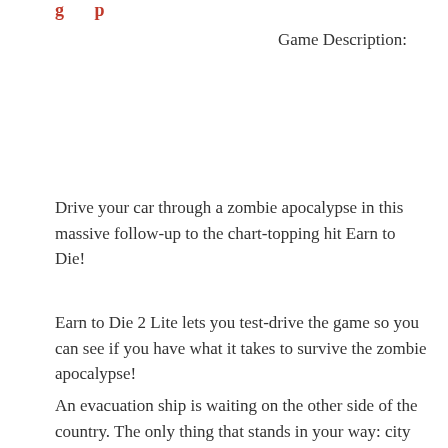Game Description:
Drive your car through a zombie apocalypse in this massive follow-up to the chart-topping hit Earn to Die!
Earn to Die 2 Lite lets you test-drive the game so you can see if you have what it takes to survive the zombie apocalypse!
An evacuation ship is waiting on the other side of the country. The only thing that stands in your way: city after city overrun by zombies. With only a run-down car and a small amount of cash you face a familiar situation… to drive through hordes of zombies in order to survive!